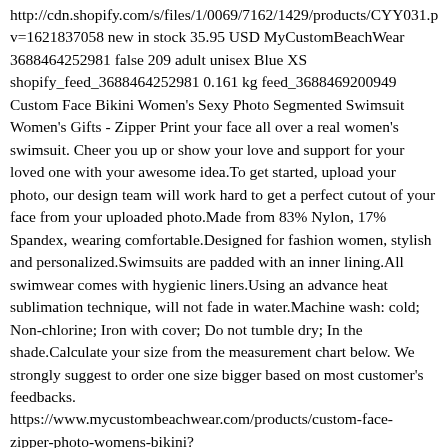http://cdn.shopify.com/s/files/1/0069/7162/1429/products/CYY031.p v=1621837058 new in stock 35.95 USD MyCustomBeachWear 3688464252981 false 209 adult unisex Blue XS shopify_feed_3688464252981 0.161 kg feed_3688469200949 Custom Face Bikini Women's Sexy Photo Segmented Swimsuit Women's Gifts - Zipper Print your face all over a real women's swimsuit. Cheer you up or show your love and support for your loved one with your awesome idea.To get started, upload your photo, our design team will work hard to get a perfect cutout of your face from your uploaded photo.Made from 83% Nylon, 17% Spandex, wearing comfortable.Designed for fashion women, stylish and personalized.Swimsuits are padded with an inner lining.All swimwear comes with hygienic liners.Using an advance heat sublimation technique, will not fade in water.Machine wash: cold; Non-chlorine; Iron with cover; Do not tumble dry; In the shade.Calculate your size from the measurement chart below. We strongly suggest to order one size bigger based on most customer's feedbacks. https://www.mycustombeachwear.com/products/custom-face-zipper-photo-womens-bikini?utm_source=ggpla&utm_medium=feed&utm_content=CYY042-S http://cdn.shopify.com/s/files/1/0069/7162/1429/products/CYY042_5842-48d8-9f8c-bd4558fd258a.jpg?v=1648176465 new in stock 45.95 USD MyCustomBeachWear 3688469200949 false 209 adult unisex Blue S shopify_feed_3688469200949 0.101 kg